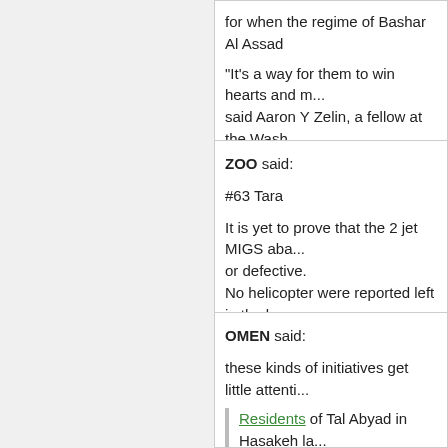for when the regime of Bashar Al Assad...
"It's a way for them to win hearts and m... said Aaron Y Zelin, a fellow at the Wash... group's end goal of creating a strict Isla...
"They are essentially trying to build a co...
Read more: http://www.thenational.ae/n... militants-gain-hearts-by-providing-food#... Follow us: @TheNationalUAE on Twitte...
February 12th, 2013, 2:27 pm
ZOO said:
#63 Tara
It is yet to prove that the 2 jet MIGS aba... or defective. No helicopter were reported left in the b...
February 12th, 2013, 2:28 pm
OMEN said:
these kinds of initiatives get little attenti...
Residents of Tal Abyad in Hasakeh la... existence among all ethnic & sectaria...
February 12th, 2013, 2:29 pm